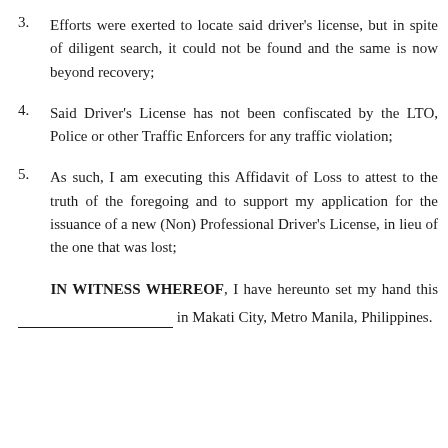3. Efforts were exerted to locate said driver's license, but in spite of diligent search, it could not be found and the same is now beyond recovery;
4. Said Driver's License has not been confiscated by the LTO, Police or other Traffic Enforcers for any traffic violation;
5. As such, I am executing this Affidavit of Loss to attest to the truth of the foregoing and to support my application for the issuance of a new (Non) Professional Driver's License, in lieu of the one that was lost;
IN WITNESS WHEREOF, I have hereunto set my hand this ___________________ in Makati City, Metro Manila, Philippines.